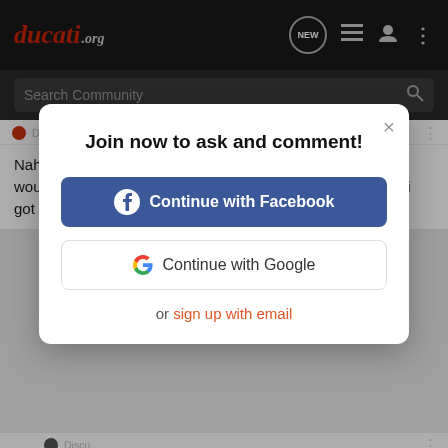ducati.org
Search Community
Discussion Starter · #61 · Aug 31, 2017
Nah,real crank sensor code through VDST....the dash just wouldnt pick it up...new batt and regulators already...in fact,i got 2
[Figure (screenshot): Modal dialog overlay: 'Join now to ask and comment!' with Continue with Facebook button, Continue with Google button, and 'or sign up with email' link]
Discussion Starter
[Figure (photo): Suzuki GSX-S1000 GT advertisement banner]
Yeah,